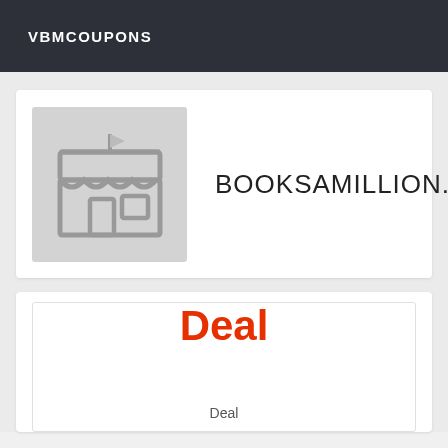VBMCOUPONS
[Figure (illustration): Store/shop icon in gray on light gray background]
BOOKSAMILLION.COM
Deal
Deal